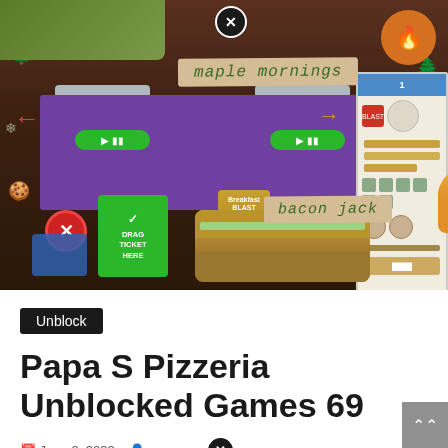[Figure (screenshot): Screenshot of a cooking game showing a food preparation station with 'maple mornings' and 'bacon jack' labels, green buttons, a purple cooking area, hotdog, cup, and popcorn items. Right side panel shows order details.]
Unblock
Papa S Pizzeria Unblocked Games 69
June 2, 2022   genos